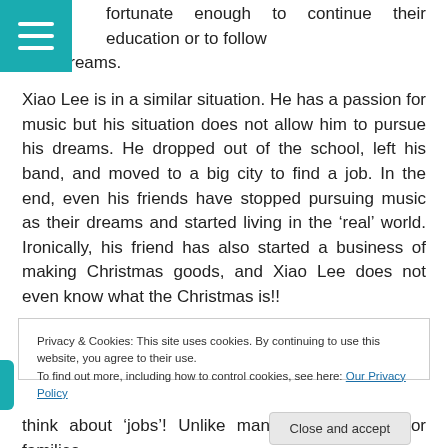fortunate enough to continue their education or to follow their dreams.
[Figure (other): Teal/cyan hamburger menu button icon with three white horizontal lines]
Xiao Lee is in a similar situation. He has a passion for music but his situation does not allow him to pursue his dreams. He dropped out of the school, left his band, and moved to a big city to find a job. In the end, even his friends have stopped pursuing music as their dreams and started living in the ‘real’ world. Ironically, his friend has also started a business of making Christmas goods, and Xiao Lee does not even know what the Christmas is!!
Privacy & Cookies: This site uses cookies. By continuing to use this website, you agree to their use.
To find out more, including how to control cookies, see here: Our Privacy Policy
Close and accept
think about ‘jobs’! Unlike many lower class poor families